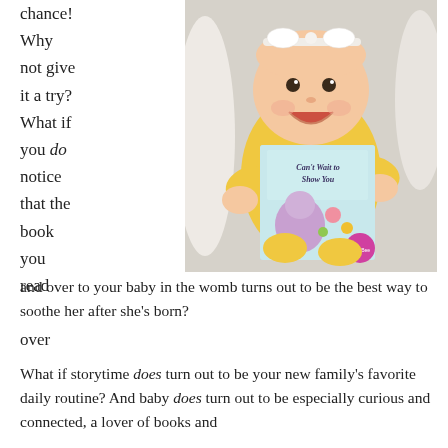chance! Why not give it a try? What if you do notice that the book you read over
[Figure (photo): A smiling baby in a yellow onesie wearing a white headband bow, holding up a colorful children's book titled 'Can't Wait to Show You']
and over to your baby in the womb turns out to be the best way to soothe her after she's born?
What if storytime does turn out to be your new family's favorite daily routine? And baby does turn out to be especially curious and connected, a lover of books and